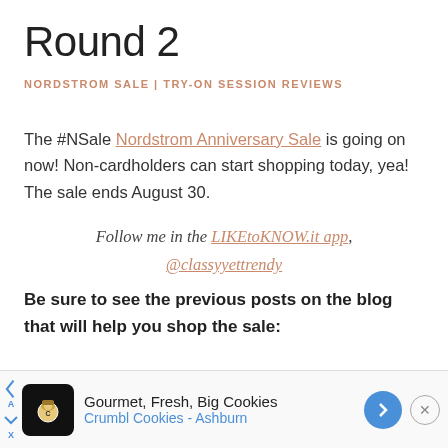Round 2
NORDSTROM SALE | TRY-ON SESSION REVIEWS
The #NSale Nordstrom Anniversary Sale is going on now! Non-cardholders can start shopping today, yea! The sale ends August 30.
Follow me in the LIKEtoKNOW.it app, @classyyettrendy
Be sure to see the previous posts on the blog that will help you shop the sale:
[Figure (other): Advertisement banner for Crumbl Cookies - Ashburn: Gourmet, Fresh, Big Cookies]